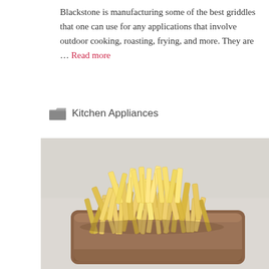Blackstone is manufacturing some of the best griddles that one can use for any applications that involve outdoor cooking, roasting, frying, and more. They are … Read more
📁 Kitchen Appliances
[Figure (photo): A wooden tray piled high with crinkle-cut french fries on a light grey background]